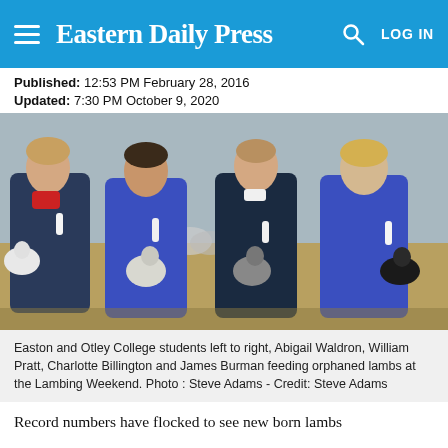Eastern Daily Press
Published: 12:53 PM February 28, 2016
Updated: 7:30 PM October 9, 2020
[Figure (photo): Four Easton and Otley College students sitting outdoors bottle-feeding orphaned lambs. Left to right: Abigail Waldron, William Pratt, Charlotte Billington, and James Burman. Students wear blue polo shirts and dark trousers. Sheep visible in background.]
Easton and Otley College students left to right, Abigail Waldron, William Pratt, Charlotte Billington and James Burman feeding orphaned lambs at the Lambing Weekend. Photo : Steve Adams - Credit: Steve Adams
Record numbers have flocked to see new born lambs